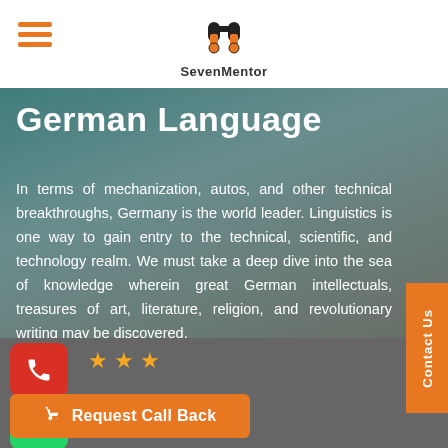[Figure (logo): SevenMentor logo with binoculars icon above the text]
German Language
In terms of mechanization, autos, and other technical breakthroughs, Germany is the world leader. Linguistics is one way to gain entry to the technical, scientific, and technology realm. We must take a deep dive into the sea of knowledge wherein great German intellectuals, treasures of art, literature, religion, and revolutionary writing may be discovered.